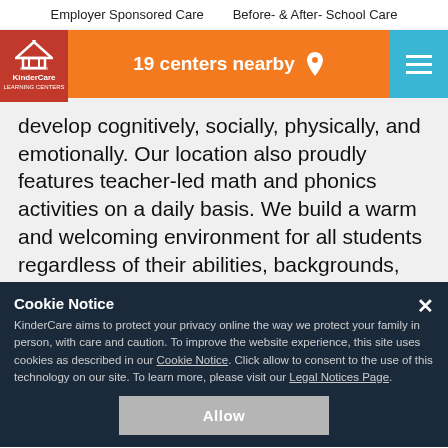Employer Sponsored Care     Before- & After- School Care
[Figure (screenshot): KinderCare orange navigation bar showing '19 centers nearby' with location pin icon, red logo box on left with KinderCare logo, teal hamburger menu on right]
develop cognitively, socially, physically, and emotionally. Our location also proudly features teacher-led math and phonics activities on a daily basis. We build a warm and welcoming environment for all students regardless of their abilities, backgrounds, and experiences.
Cookie Notice
KinderCare aims to protect your privacy online the way we protect your family in person, with care and caution. To improve the website experience, this site uses cookies as described in our Cookie Notice. Click allow to consent to the use of this technology on our site. To learn more, please visit our Legal Notices Page.